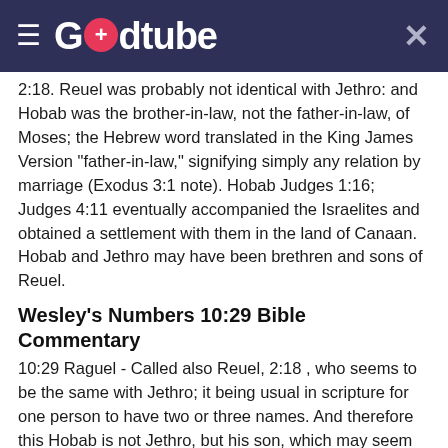Godtube
2:18. Reuel was probably not identical with Jethro: and Hobab was the brother-in-law, not the father-in-law, of Moses; the Hebrew word translated in the King James Version "father-in-law," signifying simply any relation by marriage (Exodus 3:1 note). Hobab Judges 1:16; Judges 4:11 eventually accompanied the Israelites and obtained a settlement with them in the land of Canaan. Hobab and Jethro may have been brethren and sons of Reuel.
Wesley's Numbers 10:29 Bible Commentary
10:29 Raguel - Called also Reuel, 2:18 , who seems to be the same with Jethro; it being usual in scripture for one person to have two or three names. And therefore this Hobab is not Jethro, but his son, which may seem more probable, because Jethro was old and unfit to travel, and desirous, as may well be thought, to die in his own country, whither he returned, 18:27 , but Hobab was young and fitter for these journeys, and therefore entreated by